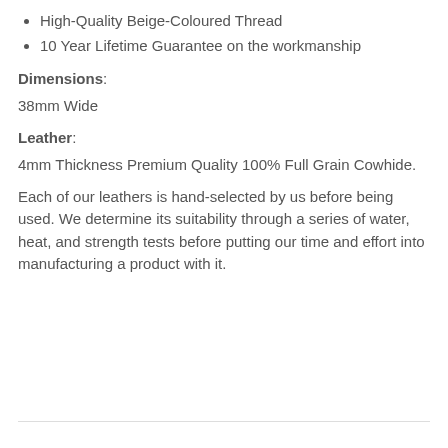High-Quality Beige-Coloured Thread
10 Year Lifetime Guarantee on the workmanship
Dimensions:
38mm Wide
Leather:
4mm Thickness Premium Quality 100% Full Grain Cowhide.
Each of our leathers is hand-selected by us before being used. We determine its suitability through a series of water, heat, and strength tests before putting our time and effort into manufacturing a product with it.